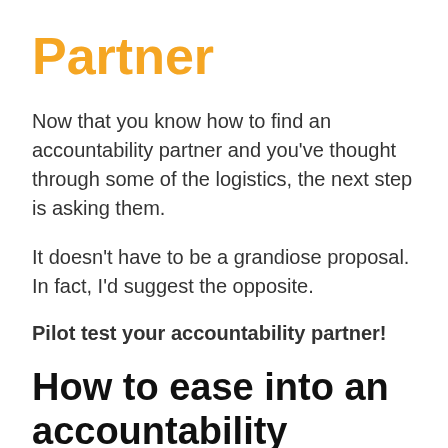Partner
Now that you know how to find an accountability partner and you've thought through some of the logistics, the next step is asking them.
It doesn't have to be a grandiose proposal. In fact, I'd suggest the opposite.
Pilot test your accountability partner!
How to ease into an accountability partnership
While you may be tempted to present your spreadsheets, calendar, and tracking apps in a carefully rehearsed powerpoint presentation, hold